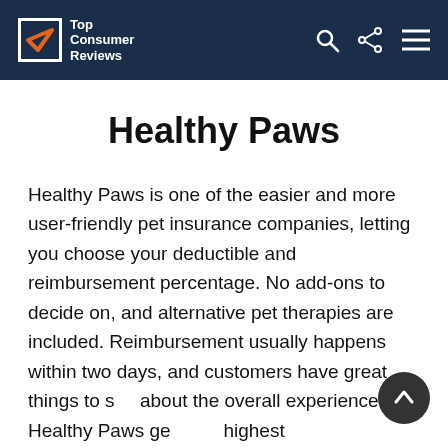Top Consumer Reviews
Healthy Paws
Healthy Paws is one of the easier and more user-friendly pet insurance companies, letting you choose your deductible and reimbursement percentage. No add-ons to decide on, and alternative pet therapies are included. Reimbursement usually happens within two days, and customers have great things to say about the overall experience. Healthy Paws gets our highest recommendation among pet insurance